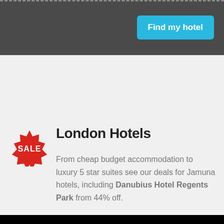Find my hotel
London Hotels
From cheap budget accommodation to luxury 5 star suites see our deals for Jamuna hotels, including Danubius Hotel Regents Park from 44% off.
[Figure (logo): 27 YEARS — THE LONDON EXPERTS logo with white box containing '27 YEARS' and text 'THE LONDON EXPERTS' in white on black background]